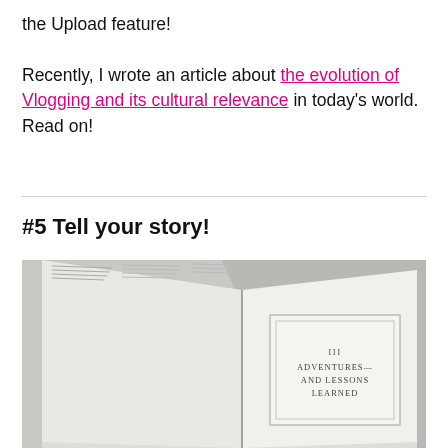the Upload feature! Recently, I wrote an article about the evolution of Vlogging and its cultural relevance in today's world. Read on!
#5 Tell your story!
[Figure (photo): An open book photographed from above showing a page titled 'ADVENTURES AND LESSONS LEARNED' in a decorative bordered layout, with soft shadows on a light surface.]